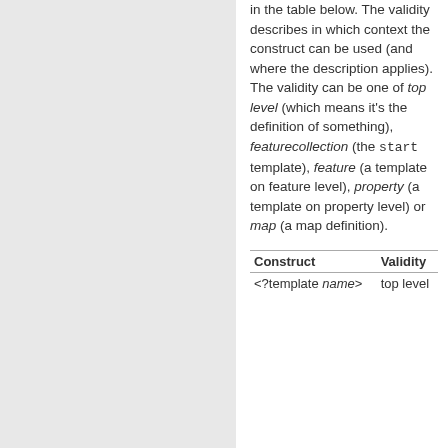in the table below. The validity describes in which context the construct can be used (and where the description applies). The validity can be one of top level (which means it's the definition of something), featurecollection (the start template), feature (a template on feature level), property (a template on property level) or map (a map definition).
| Construct | Validity |
| --- | --- |
| <?template name> | top level |